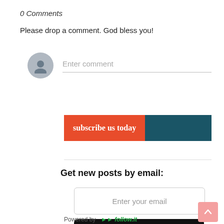0 Comments
Please drop a comment. God bless you!
[Figure (illustration): User avatar placeholder (grey circle with person silhouette) next to an 'Enter comment' input field with bottom border]
[Figure (infographic): Subscribe us today banner: orange left section with white text 'subscribe us today', teal right section]
Get new posts by email:
[Figure (screenshot): Email input box with placeholder text 'Enter your email']
[Figure (screenshot): Black rounded Subscribe button with white bold text 'Subscribe']
Powered by follow.it